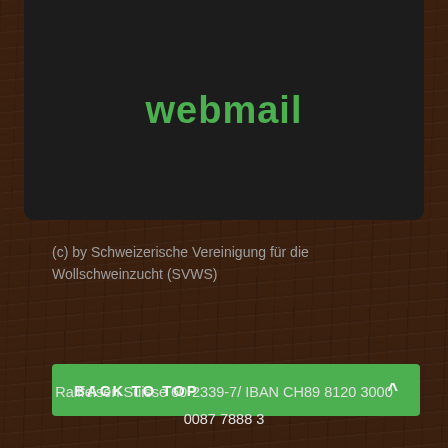webmail
(c) by Schweizerische Vereinigung für die Wollschweinzucht (SVWS)
BACK TO TOP ^
Raiffeisen Suisse 60-2339-7/ IBAN CH89 8120 3000 0087 7888 3